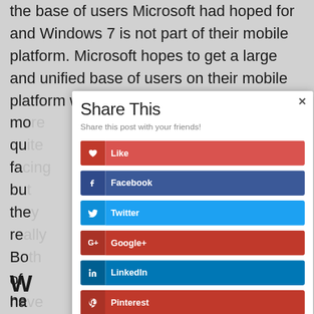the base of users Microsoft had hoped for and Windows 7 is not part of their mobile platform. Microsoft hopes to get a large and unified base of users on their mobile platform with Wi... is mo... qu... y fa... bu... the rea... ? Bo... n of ha... x yo... ts fro... Mi...
[Figure (screenshot): A 'Share This' modal dialog overlay showing social sharing buttons: Like, Facebook, Twitter, Google+, LinkedIn, Pinterest. Each button has an icon section and a label. The modal has a close (x) button in the top right and a subtitle 'Share this post with your friends!']